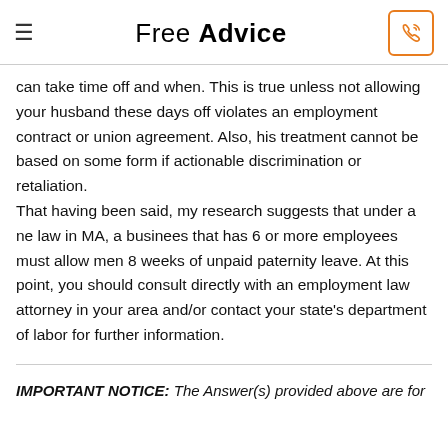Free Advice
can take time off and when. This is true unless not allowing your husband these days off violates an employment contract or union agreement. Also, his treatment cannot be based on some form if actionable discrimination or retaliation. That having been said, my research suggests that under a ne law in MA, a businees that has 6 or more employees must allow men 8 weeks of unpaid paternity leave. At this point, you should consult directly with an employment law attorney in your area and/or contact your state's department of labor for further information.
IMPORTANT NOTICE: The Answer(s) provided above are for